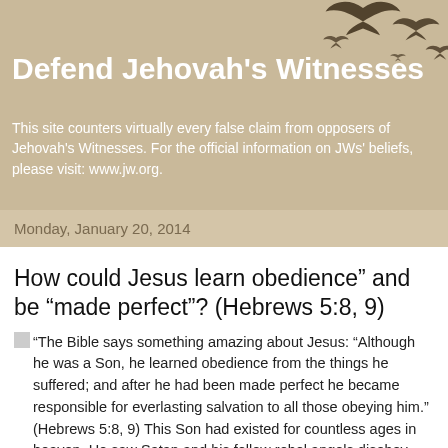Defend Jehovah's Witnesses
This site counters virtually every false claim from opposers of Jehovah's Witnesses. For the official information on JWs' beliefs, please visit: www.jw.org.
Monday, January 20, 2014
How could Jesus learn obedience” and be “made perfect”? (Hebrews 5:8, 9)
“The Bible says something amazing about Jesus: “Although he was a Son, he learned obedience from the things he suffered; and after he had been made perfect he became responsible for everlasting salvation to all those obeying him.” (Hebrews 5:8, 9) This Son had existed for countless ages in heaven. He saw Satan and his fellow rebel angels disobey, but the firstborn Son never joined them.